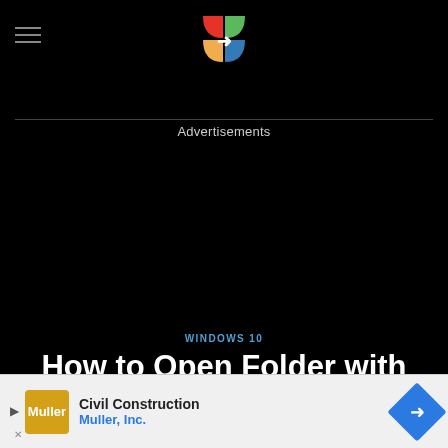Advertisements
WINDOWS 10
How to Open Folder with Keyboard Shortcut in
Privacy & Cookies: This site uses cookies. By continuing to use this website, you agree to their use.
To find out more, including how to control cookies, see here: Cookie Policy
Civil Construction Muller, Inc.